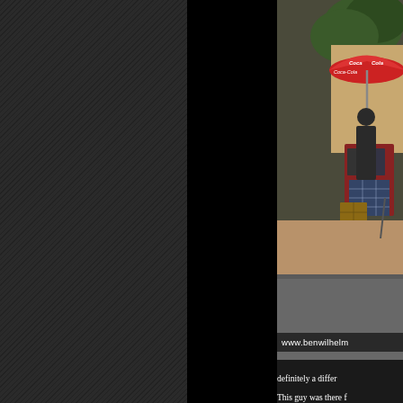[Figure (photo): Outdoor street vendor stall with a large red Coca-Cola branded umbrella, a person standing near merchandise displays, trees and a wall visible in the background, road in the foreground]
www.benwilhelm
definitely a differ
This guy was there f
helping with the tr